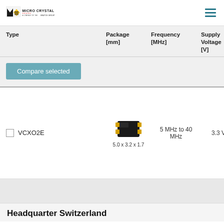[Figure (logo): Micro Crystal logo - MC logo mark with yellow/black design, text MICRO CRYSTAL and A COMPANY OF THE SWATCH GROUP]
| Type | Package [mm] | Frequency [MHz] | Supply Voltage [V] | Temperature Range [°C] |
| --- | --- | --- | --- | --- |
| VCXO2E | 5.0 x 3.2 x 1.7 | 5 MHz to 40 MHz | 3.3 V | C: +125°C to
R: -10 +150°C to
S: -10 +175°C to
T: -10 +210°C to |
Compare selected
Headquarter Switzerland